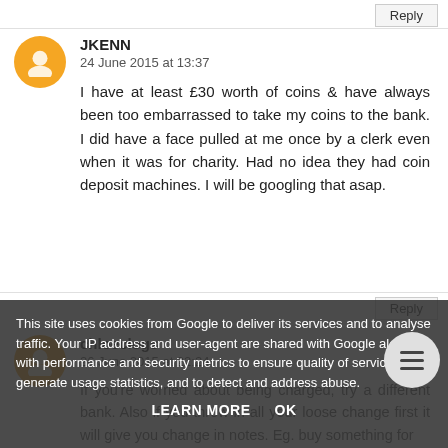Reply
JKENN
24 June 2015 at 13:37
I have at least £30 worth of coins & have always been too embarrassed to take my coins to the bank. I did have a face pulled at me once by a clerk even when it was for charity. Had no idea they had coin deposit machines. I will be googling that asap.
Reply
chloeclogs
26 June 2015 at 22:24
This site uses cookies from Google to deliver its services and to analyse traffic. Your IP address and user-agent are shared with Google along with performance and security metrics to ensure quality of service, generate usage statistics, and to detect and address abuse.
LEARN MORE    OK